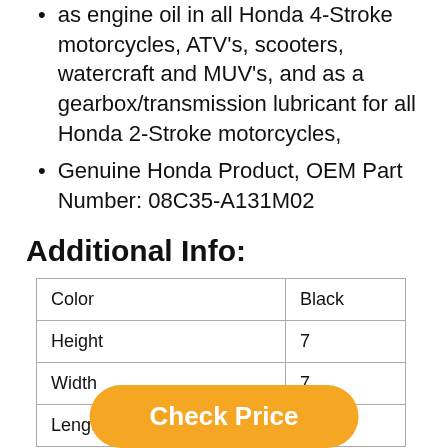as engine oil in all Honda 4-Stroke motorcycles, ATV's, scooters, watercraft and MUV's, and as a gearbox/transmission lubricant for all Honda 2-Stroke motorcycles,
Genuine Honda Product, OEM Part Number: 08C35-A131M02
Additional Info:
| Color | Black |
| Height | 7 |
| Width | 7 |
| Length | 7 |
Check Price